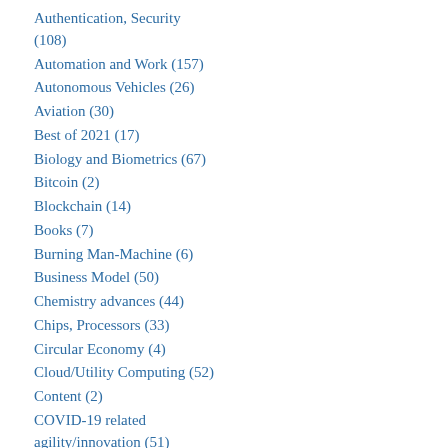Authentication, Security (108)
Automation and Work (157)
Autonomous Vehicles (26)
Aviation (30)
Best of 2021 (17)
Biology and Biometrics (67)
Bitcoin (2)
Blockchain (14)
Books (7)
Burning Man-Machine (6)
Business Model (50)
Chemistry advances (44)
Chips, Processors (33)
Circular Economy (4)
Cloud/Utility Computing (52)
Content (2)
COVID-19 related agility/innovation (51)
Creativity in Product Design (284)